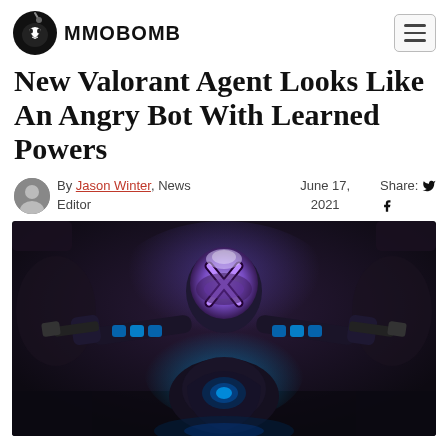MMOBOMB
New Valorant Agent Looks Like An Angry Bot With Learned Powers
By Jason Winter, News Editor  June 17, 2021  Share:
[Figure (photo): A robotic Valorant agent character with glowing blue and purple lights, dual mounted weapons, and an X-shaped symbol on its helmet, set against a dark industrial background.]